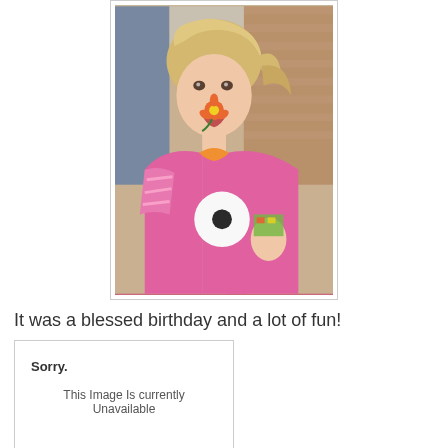[Figure (photo): A young blonde girl wearing a pink shirt with striped sleeves, holding a flower candy or sucker in her mouth, smiling at the camera. Background shows brick wall and another person.]
It was a blessed birthday and a lot of fun!
[Figure (photo): Broken/unavailable image placeholder from Photobucket showing 'Sorry. This Image Is currently Unavailable' with Photobucket logo bar at bottom.]